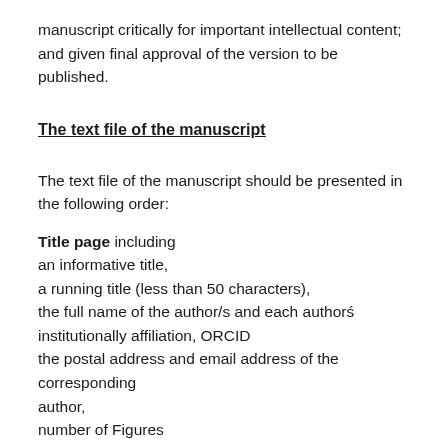manuscript critically for important intellectual content; and given final approval of the version to be published.
The text file of the manuscript
The text file of the manuscript should be presented in the following order:
Title page including
an informative title,
a running title (less than 50 characters),
the full name of the author/s and each authors̈ institutionally affiliation, ORCID
the postal address and email address of the corresponding author,
number of Figures
Abstract
The abstract should not exceed 250 words and contain the